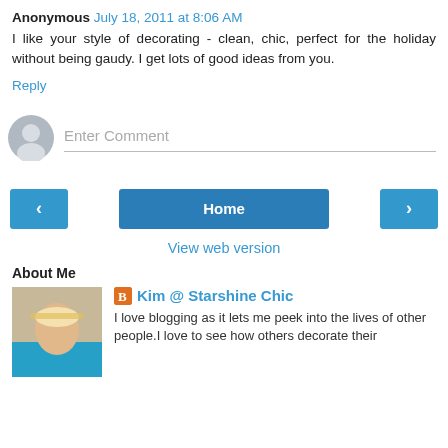Anonymous July 18, 2011 at 8:06 AM
I like your style of decorating - clean, chic, perfect for the holiday without being gaudy. I get lots of good ideas from you.
Reply
[Figure (other): Comment input box with avatar placeholder and 'Enter Comment' placeholder text]
[Figure (other): Navigation bar with left arrow button, Home button, and right arrow button]
View web version
About Me
[Figure (photo): Profile photo of Kim @ Starshine Chic, a woman wearing a tiara in a store]
Kim @ Starshine Chic
I love blogging as it lets me peek into the lives of other people.I love to see how others decorate their